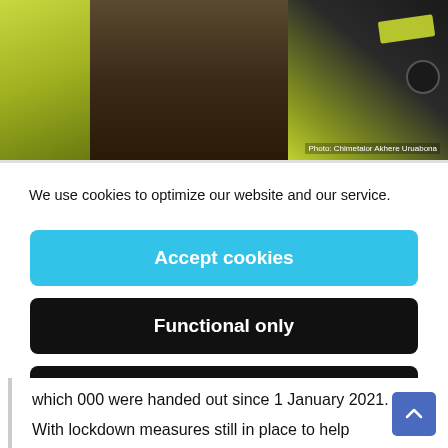[Figure (photo): Police officers in high-visibility yellow vests, photo credit to Chimetalor Akhere Uruabona]
Photo: Chimetalor Akhere Uruabona
We use cookies to optimize our website and our service.
Accept cookies
Functional only
View preferences
which 000 were handed out since 1 January 2021.
With lockdown measures still in place to help